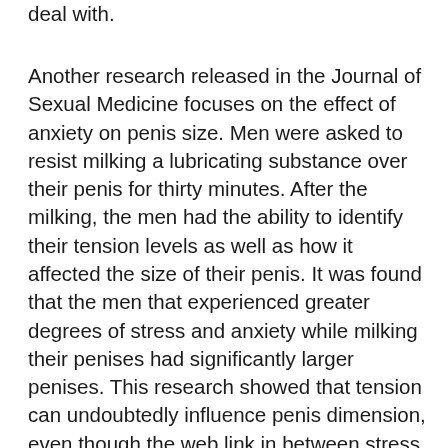deal with.
Another research released in the Journal of Sexual Medicine focuses on the effect of anxiety on penis size. Men were asked to resist milking a lubricating substance over their penis for thirty minutes. After the milking, the men had the ability to identify their tension levels as well as how it affected the size of their penis. It was found that the men that experienced greater degrees of stress and anxiety while milking their penises had significantly larger penises. This research showed that tension can undoubtedly influence penis dimension, even though the web link in between stress as well as penis girth was just indirect.